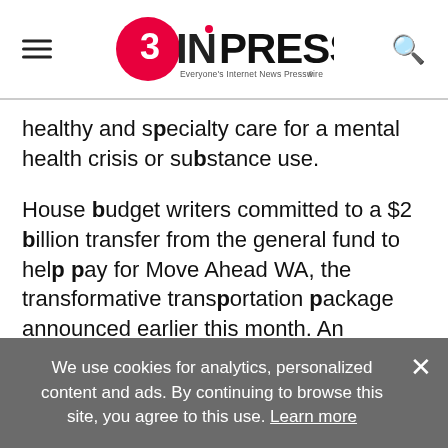EIN PRESSWIRE — Everyone's Internet News Presswire
healthy and specialty care for a mental health crisis or substance use.
House budget writers committed to a $2 billion transfer from the general fund to help pay for Move Ahead WA, the transformative transportation package announced earlier this month. An additional fund transfer of $500 million to the capital budget will fund housing construction programs to address the homelessness and
We use cookies for analytics, personalized content and ads. By continuing to browse this site, you agree to this use. Learn more